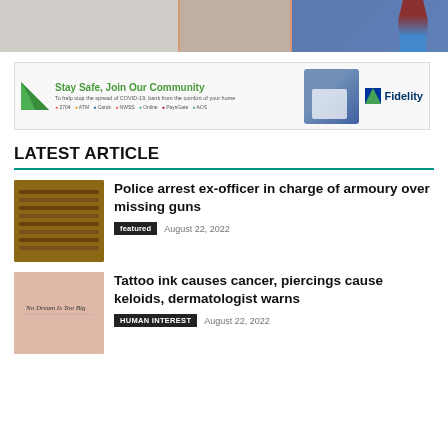[Figure (photo): Top banner with three image panels showing furniture/room, person, and illustrated character]
[Figure (photo): Fidelity Bank advertisement - Stay Safe, Join Our Community. Banking from home during COVID-19.]
LATEST ARTICLE
[Figure (photo): Thumbnail image of guns/weapons in an armoury rack]
Police arrest ex-officer in charge of armoury over missing guns
featured   August 22, 2022
[Figure (photo): Thumbnail image of tattoo on skin reading 'No Dream Is Too Big']
Tattoo ink causes cancer, piercings cause keloids, dermatologist warns
HUMAN INTEREST   August 22, 2022